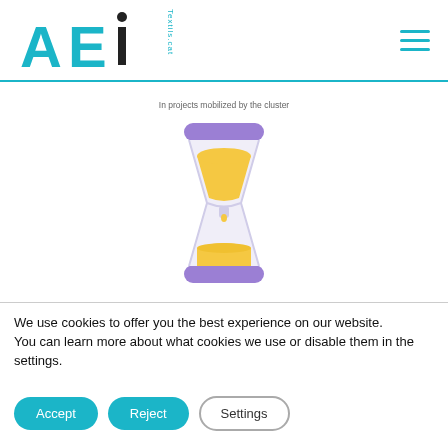[Figure (logo): AEi Textils.cat logo in teal/cyan color with black i element]
In projects mobilized by the cluster
[Figure (illustration): Hourglass icon with purple top and bottom bars, golden sand in upper and lower chambers, white/light gray glass body]
We use cookies to offer you the best experience on our website.
You can learn more about what cookies we use or disable them in the settings.
Accept
Reject
Settings